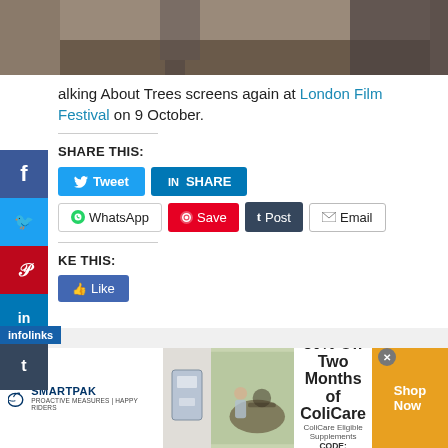[Figure (photo): Top portion of a photo showing a person walking, cropped at bottom of corridor or stable area]
alking About Trees screens again at London Film Festival on 9 October.
SHARE THIS:
Tweet | SHARE | WhatsApp | Save | Post | Email
KE THIS:
Like
[Figure (infographic): SmartPak advertisement: 50% Off Two Months of ColiCare, ColiCare Eligible Supplements, CODE: COLICARE10, Shop Now button]